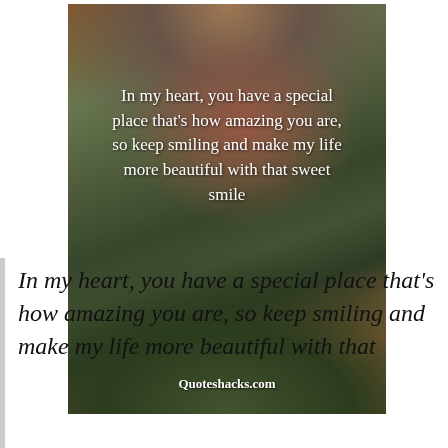[Figure (photo): A person in a red jacket jumping outdoors in a snowy/wintery scene with trees and grass in the background. White text overlaid reads the quote. Watermark at bottom: Quoteshacks.com]
In my heart, you have a special place that's how amazing you are, so keep smiling and make my life more beautiful with that sweet smile